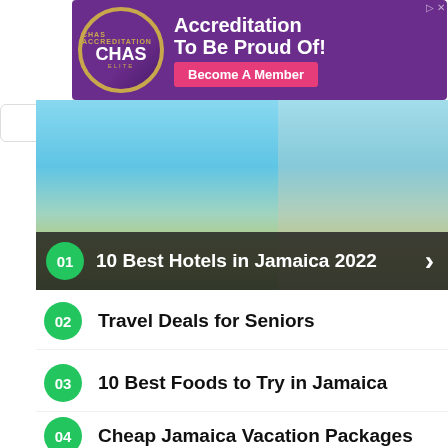[Figure (photo): CHAS Accreditation purple banner ad with logo badge and 'Become A Member' pink button]
[Figure (photo): Beach scene hero image showing person looking at beach with yellow umbrellas and turquoise water, with dark overlay showing '01 10 Best Hotels in Jamaica 2022']
02 Travel Deals for Seniors
03 10 Best Foods to Try in Jamaica
04 Cheap Jamaica Vacation Packages